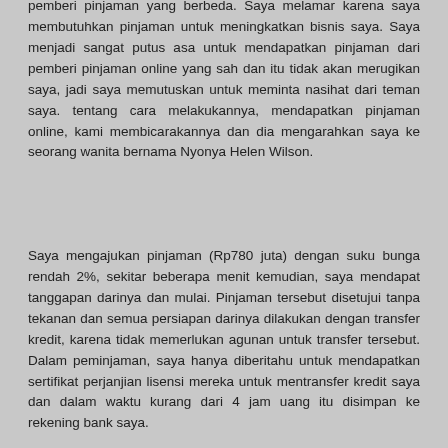pemberi pinjaman yang berbeda. Saya melamar karena saya membutuhkan pinjaman untuk meningkatkan bisnis saya. Saya menjadi sangat putus asa untuk mendapatkan pinjaman dari pemberi pinjaman online yang sah dan itu tidak akan merugikan saya, jadi saya memutuskan untuk meminta nasihat dari teman saya. tentang cara melakukannya, mendapatkan pinjaman online, kami membicarakannya dan dia mengarahkan saya ke seorang wanita bernama Nyonya Helen Wilson.
Saya mengajukan pinjaman (Rp780 juta) dengan suku bunga rendah 2%, sekitar beberapa menit kemudian, saya mendapat tanggapan darinya dan mulai. Pinjaman tersebut disetujui tanpa tekanan dan semua persiapan darinya dilakukan dengan transfer kredit, karena tidak memerlukan agunan untuk transfer tersebut. Dalam peminjaman, saya hanya diberitahu untuk mendapatkan sertifikat perjanjian lisensi mereka untuk mentransfer kredit saya dan dalam waktu kurang dari 4 jam uang itu disimpan ke rekening bank saya.